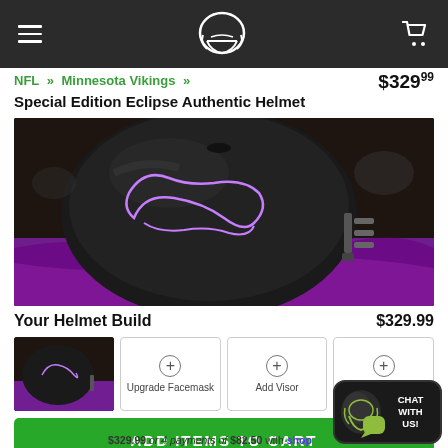Navigation header with menu, logo, and cart icon
NFL » Minnesota Vikings »
$329.99
Special Edition Eclipse Authentic Helmet
[Figure (photo): Close-up photo of a matte black Minnesota Vikings Special Edition Eclipse authentic football helmet with purple logo outline, lying on a purple surface]
Your Helmet Build
$329.99
[Figure (photo): Small thumbnail of the Minnesota Vikings Eclipse helmet]
Upgrade Facemask
Add Visor
Upgrade Chinstrap
ADD ITEMS TO CART
$329.99 or 4 payments of $82.50 with shop